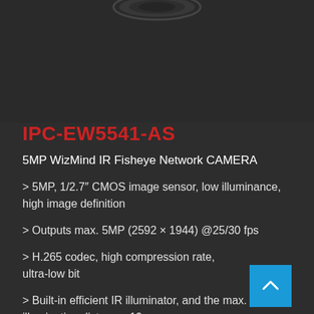[Figure (photo): Top portion of a fisheye network camera product image on dark background]
IPC-EW5541-AS
5MP WizMind IR Fisheye Network CAMERA
> 5MP, 1/2.7" CMOS image sensor, low illuminance, high image definition
> Outputs max. 5MP (2592 × 1944) @25/30 fps
> H.265 codec, high compression rate, ultra-low bit
> Built-in efficient IR illuminator, and the max. illumination distance: 10 m